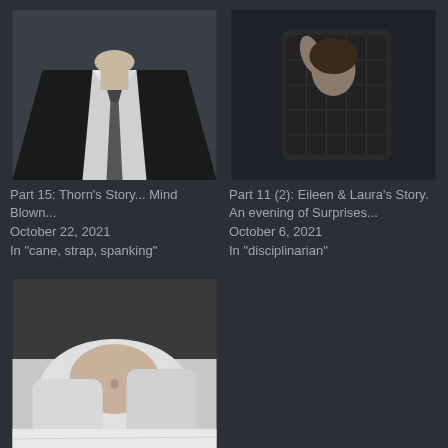[Figure (photo): Grayscale photo of a man in a suit and tie, cropped at chest level]
Part 15: Thorn's Story... Mind Blown...
October 22, 2021
In "cane, strap, spanking"
[Figure (photo): Grayscale photo of a woman sitting in a chair, back view]
Part 11 (2): Eileen & Laura's Story. An evening of Surprises...
October 6, 2021
In "disciplinarian"
[Figure (photo): Grayscale close-up photo of a person lying on a bed wrapped in a towel]
Part 1. Laura's Story. Be careful what you wish for...
February 20, 2021
In "cane, strap, spanking"